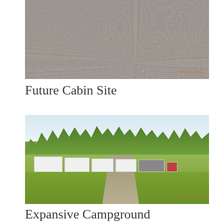[Figure (photo): Aerial/ground-level photo of a gravel area — future cabin site. Timestamp visible bottom-right.]
Future Cabin Site
[Figure (photo): Outdoor campground with RVs/trailers parked along a tree line, gravel driveway leading in, green grass in foreground. Timestamp visible bottom-right.]
Expansive Campground